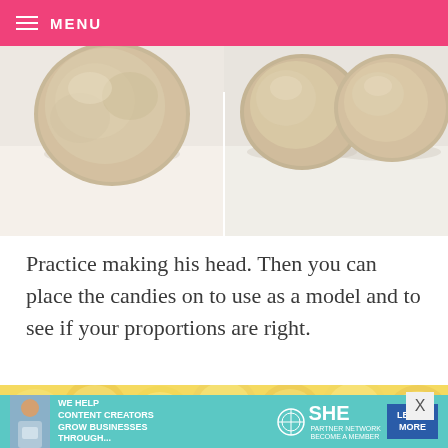MENU
[Figure (photo): Two side-by-side images of round dough/cookie balls on a light background]
Practice making his head. Then you can place the candies on to use as a model and to see if your proportions are right.
[Figure (photo): Close-up photo of yellow candy melts/drops on a yellow background]
[Figure (infographic): Advertisement banner: WE HELP CONTENT CREATORS GROW BUSINESSES THROUGH... SHE PARTNER NETWORK BECOME A MEMBER. LEARN MORE button.]